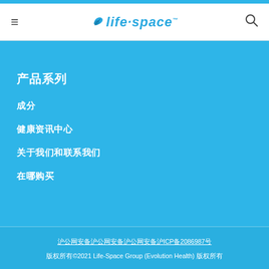life·space (logo navigation header)
产品系列
成分
健康资讯中心
关于我们和联系我们
在哪购买
沪公网安备沪公网安备沪公网安备沪ICP备2086987号 版权所有©2021 Life-Space Group (Evolution Health) 版权所有